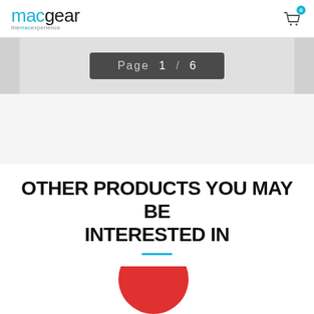macgear — themacexperience
Page 1 / 6
OTHER PRODUCTS YOU MAY BE INTERESTED IN
[Figure (illustration): Partial red circular product image at bottom of page]